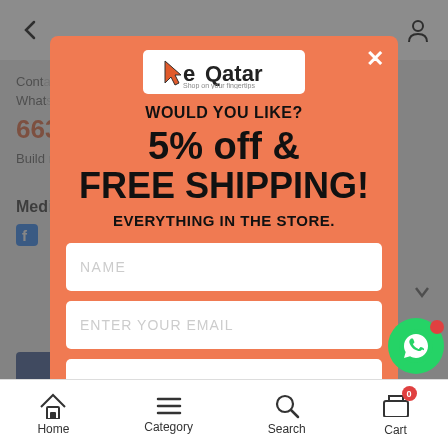[Figure (screenshot): Mobile app screenshot background showing navigation header with back arrow and user icon, contact page content with phone number starting 663, Media section with Facebook icon, and bottom navigation bar with Home, Category, Search, Cart icons]
[Figure (infographic): Orange modal popup overlay on eQatar app with promotional offer: 5% off & FREE SHIPPING on everything in the store. Contains logo, two input fields for Name and Email, and a submit button partially visible.]
WOULD YOU LIKE?
5% off &
FREE SHIPPING!
EVERYTHING IN THE STORE.
NAME
ENTER YOUR EMAIL
Home  Category  Search  Cart